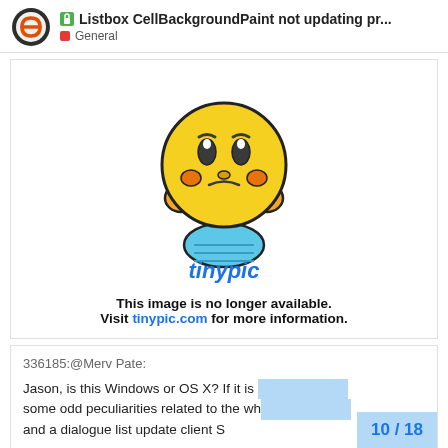Listbox CellBackgroundPaint not updating pr... General
[Figure (illustration): Tinypic broken image placeholder showing a frustrated cartoon emoji character with the text 'This image is no longer available. Visit tinypic.com for more information.']
336185:@Merv Pate:
Jason, is this Windows or OS X? If it is some odd peculiarities related to the wh and a dialogue list update client S
10 / 18